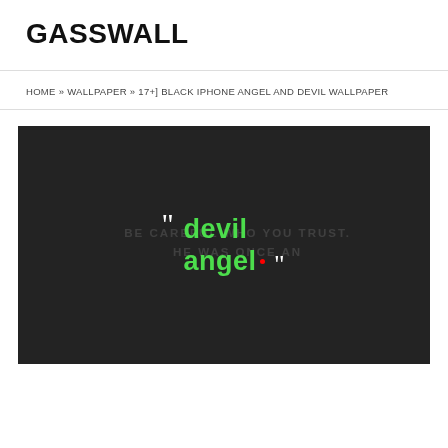GASSWALL
HOME » WALLPAPER » 17+] BLACK IPHONE ANGEL AND DEVIL WALLPAPER
[Figure (screenshot): Dark wallpaper image with quote marks, faint background text reading 'BE CAREFUL WHO YOU TRUST. HE WAS ONCE AN', and green bold text reading 'devil' and 'angel' with a red dot below]